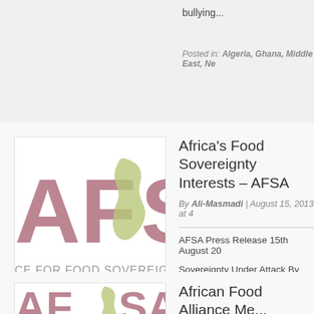bullying...
Posted in: Algeria, Ghana, Middle East, Ne...
[Figure (logo): AFSA - Alliance for Food Sovereignty in Africa logo, showing the letters AF with an Africa map silhouette and SA, with text 'CE FOR FOOD SOVEREIGNTY IN' below]
Africa's Food Sovereignty Interests – AFSA
By Ali-Masmadi | August 15, 2013 at 4...
AFSA Press Release 15th August 20...
Sovereignty Under Attack By Corpo... in Africa (AFSA), a coalition of pan-...
Posted in: Africa, International Solidarity, ... Awareness, The Pan-Africanist Imperatives...
[Figure (logo): AFSA - Alliance for Food Sovereignty in Africa logo partial view]
African Food Alliance Me... Imposition